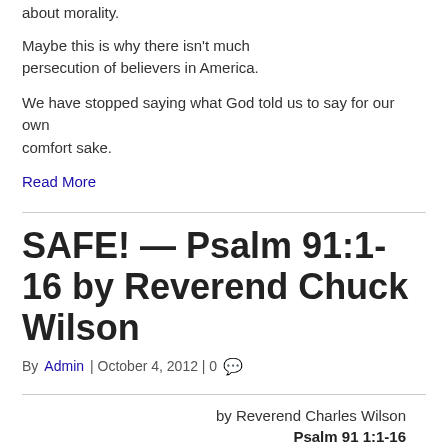about morality.
Maybe this is why there isn't much persecution of believers in America.
We have stopped saying what God told us to say for our own comfort sake.
Read More
SAFE! — Psalm 91:1-16 by Reverend Chuck Wilson
By Admin | October 4, 2012 | 0
by Reverend Charles Wilson
Psalm 91 1:1-16